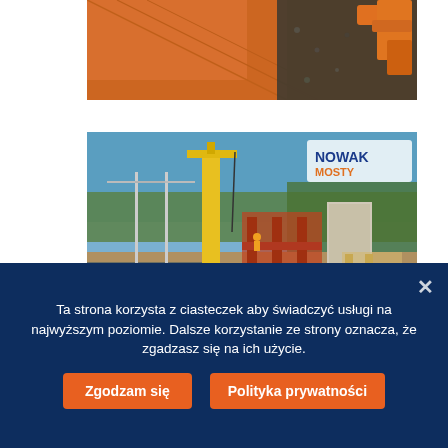[Figure (photo): Aerial/overhead view of orange metal sheets and construction machinery (excavator) on gravel, construction site.]
[Figure (photo): Construction site showing railway tracks, yellow crane, scaffolding, and workers building a bridge or viaduct. Nowak Mosty logo visible in upper right corner.]
Ta strona korzysta z ciasteczek aby świadczyć usługi na najwyższym poziomie. Dalsze korzystanie ze strony oznacza, że zgadzasz się na ich użycie.
Zgodzam się
Polityka prywatności